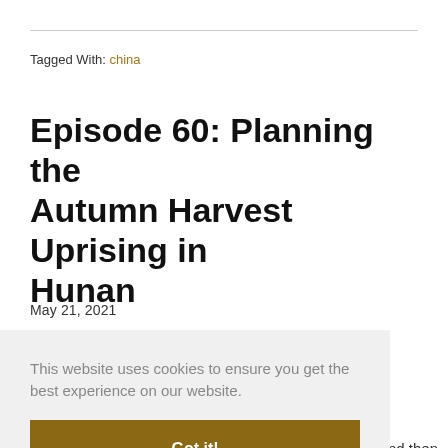Tagged With: china
Episode 60: Planning the Autumn Harvest Uprising in Hunan
May 21, 2021
This website uses cookies to ensure you get the best experience on our website.
Got it!
n the
ure
y
Center, and then
[Figure (photo): Partial photo strip visible at bottom left of page]